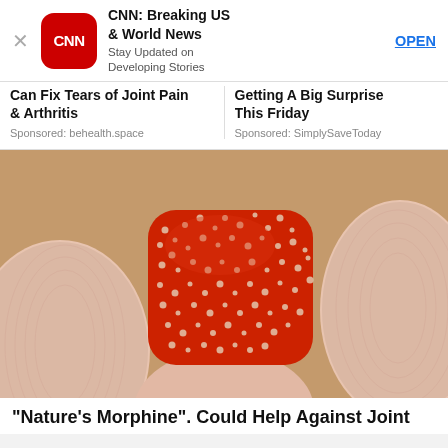[Figure (screenshot): CNN app advertisement banner with CNN logo, app name 'CNN: Breaking US & World News', subtitle 'Stay Updated on Developing Stories', and OPEN button]
Can Fix Tears of Joint Pain & Arthritis
Sponsored: behealth.space
Getting A Big Surprise This Friday
Sponsored: SimplySaveToday
[Figure (photo): Close-up macro photo of a small red textured supplement or candy being held between two fingers, with bumpy surface texture visible]
"Nature's Morphine". Could Help Against Joint